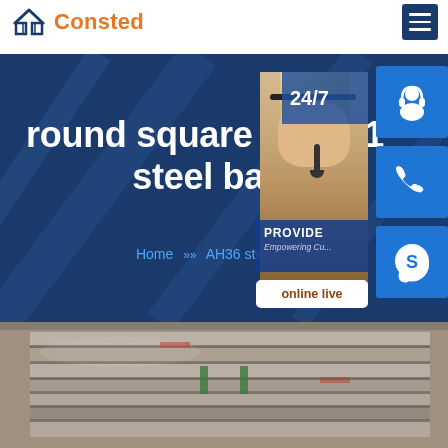Consted
round square flat 201 steel bar
Home » AH36 steel
24/7
PROVIDE
Empowering Cu...
online live
[Figure (photo): Steel flat bars stacked in a warehouse or yard, viewed from above at an angle, showing multiple layers of flat steel products.]